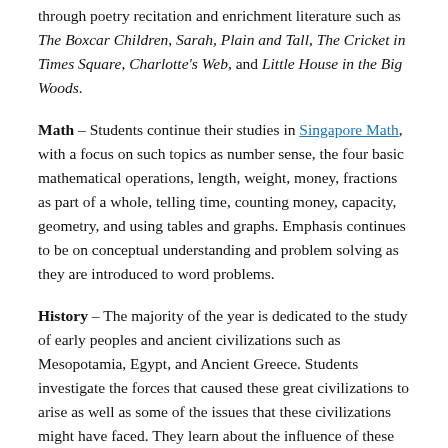through poetry recitation and enrichment literature such as The Boxcar Children, Sarah, Plain and Tall, The Cricket in Times Square, Charlotte's Web, and Little House in the Big Woods.
Math – Students continue their studies in Singapore Math, with a focus on such topics as number sense, the four basic mathematical operations, length, weight, money, fractions as part of a whole, telling time, counting money, capacity, geometry, and using tables and graphs. Emphasis continues to be on conceptual understanding and problem solving as they are introduced to word problems.
History – The majority of the year is dedicated to the study of early peoples and ancient civilizations such as Mesopotamia, Egypt, and Ancient Greece. Students investigate the forces that caused these great civilizations to arise as well as some of the issues that these civilizations might have faced. They learn about the influence of these civilizations on our modern societies, particularly with a focus on our American Constitution and government as well as a study of important figures in the American civil rights movement.